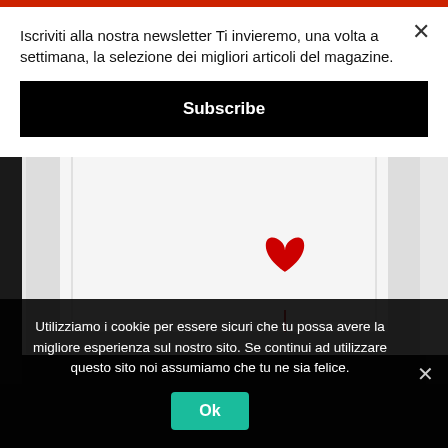Iscriviti alla nostra newsletter Ti invieremo, una volta a settimana, la selezione dei migliori articoli del magazine.
Subscribe
[Figure (photo): Banksy artwork showing a framed white canvas with a red heart-shaped balloon, displayed against a black background]
Utilizziamo i cookie per essere sicuri che tu possa avere la migliore esperienza sul nostro sito. Se continui ad utilizzare questo sito noi assumiamo che tu ne sia felice.
Ok